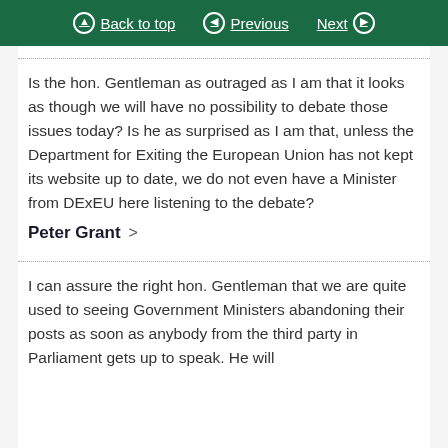Back to top | Previous | Next
Is the hon. Gentleman as outraged as I am that it looks as though we will have no possibility to debate those issues today? Is he as surprised as I am that, unless the Department for Exiting the European Union has not kept its website up to date, we do not even have a Minister from DExEU here listening to the debate?
Peter Grant
I can assure the right hon. Gentleman that we are quite used to seeing Government Ministers abandoning their posts as soon as anybody from the third party in Parliament gets up to speak. He will